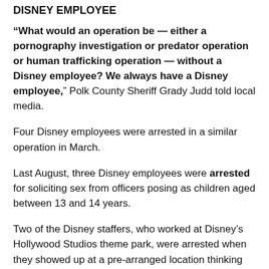DISNEY EMPLOYEE
“What would an operation be — either a pornography investigation or predator operation or human trafficking operation — without a Disney employee? We always have a Disney employee,” Polk County Sheriff Grady Judd told local media.
Four Disney employees were arrested in a similar operation in March.
Last August, three Disney employees were arrested for soliciting sex from officers posing as children aged between 13 and 14 years.
Two of the Disney staffers, who worked at Disney’s Hollywood Studios theme park, were arrested when they showed up at a pre-arranged location thinking that they would have a threesome with a 13-year-old girl.